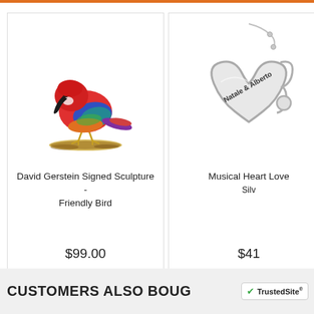[Figure (photo): Product card showing a colorful David Gerstein signed sculpture of a friendly bird, with title 'David Gerstein Signed Sculpture - Friendly Bird' and price '$99.00']
[Figure (photo): Product card showing a Musical Heart Love silver necklace with 'Natale & Alberto' engraving, price '$41...' (truncated)]
CUSTOMERS ALSO BOUG...
[Figure (logo): TrustedSite badge with green checkmark]